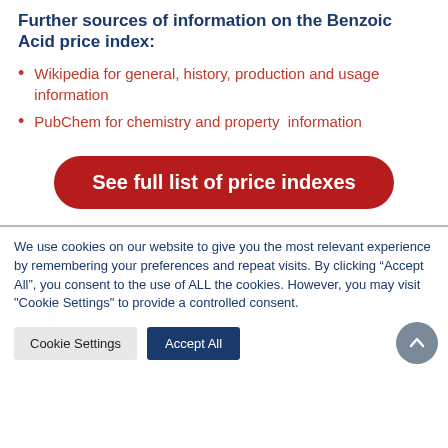Further sources of information on the Benzoic Acid price index:
Wikipedia for general, history, production and usage information
PubChem for chemistry and property information
[Figure (other): Red rounded button with white text: 'See full list of price indexes']
We use cookies on our website to give you the most relevant experience by remembering your preferences and repeat visits. By clicking "Accept All", you consent to the use of ALL the cookies. However, you may visit "Cookie Settings" to provide a controlled consent.